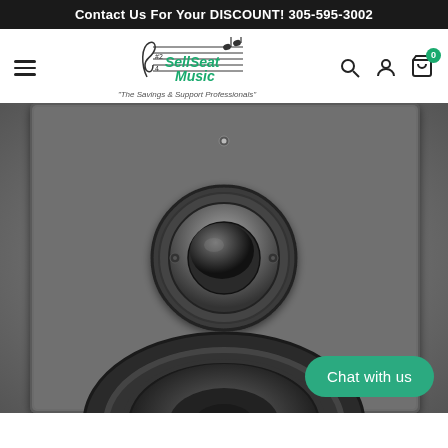Contact Us For Your DISCOUNT! 305-595-3002
[Figure (logo): SellSeat Music logo with treble clef, music notes and tagline 'The Savings & Support Professionals']
[Figure (photo): Close-up front view of a black studio monitor speaker showing tweeter dome and woofer driver on dark textured cabinet]
Chat with us